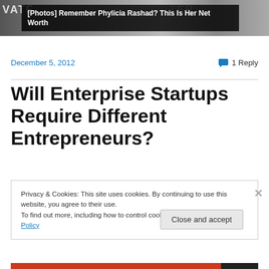[Figure (photo): Banner image with dark background and overlay text reading '[Photos] Remember Phylicia Rashad? This Is Her Net Worth']
December 5, 2012
1 Reply
Will Enterprise Startups Require Different Entrepreneurs?
Privacy & Cookies: This site uses cookies. By continuing to use this website, you agree to their use.
To find out more, including how to control cookies, see here: Cookie Policy